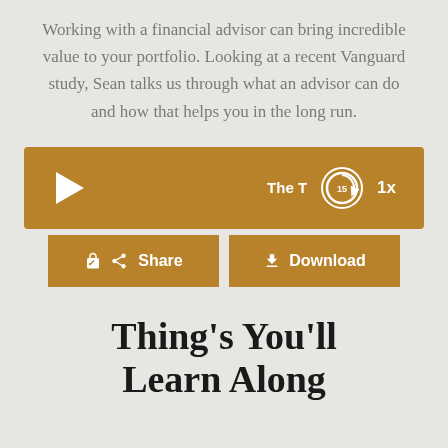Working with a financial advisor can bring incredible value to your portfolio. Looking at a recent Vanguard study, Sean talks us through what an advisor can do and how that helps you in the long run.
[Figure (other): Audio podcast player bar with play button on left, title 'The T' text, replay-15 circular button, and 1x speed label on right. Below are Share and Download buttons, all in golden-brown color.]
Thing's You'll Learn Along